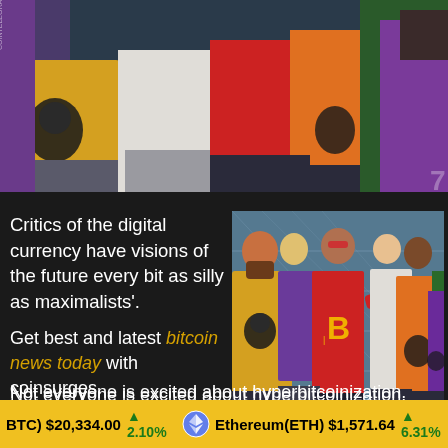[Figure (illustration): Top banner: Comic/illustration style image showing group of people from waist down, wearing colorful clothing including yellow shirt with Che Guevara print, red shirt, orange shirt, purple top, green background figure. Cointelegraph watermark visible.]
Critics of the digital currency have visions of the future every bit as silly as maximalists'.
[Figure (illustration): Side illustration: Comic style image of a group of young people, one wearing yellow shirt with Che Guevara print, one in red shirt with Bitcoin B logo, one in orange shirt with Che Guevara, one in purple. Set in front of glass/grid background.]
Get best and latest bitcoin news today with coinsurges.
Not everyone is excited about hyperbitcoinization.
BTC) $20,334.00 ▲2.10%   Ethereum(ETH) $1,571.64 ▲6.31%